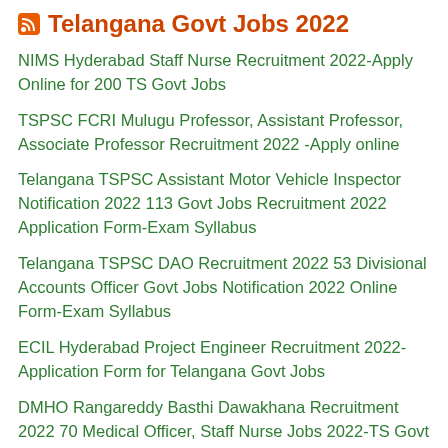Telangana Govt Jobs 2022
NIMS Hyderabad Staff Nurse Recruitment 2022-Apply Online for 200 TS Govt Jobs
TSPSC FCRI Mulugu Professor, Assistant Professor, Associate Professor Recruitment 2022 -Apply online
Telangana TSPSC Assistant Motor Vehicle Inspector Notification 2022 113 Govt Jobs Recruitment 2022 Application Form-Exam Syllabus
Telangana TSPSC DAO Recruitment 2022 53 Divisional Accounts Officer Govt Jobs Notification 2022 Online Form-Exam Syllabus
ECIL Hyderabad Project Engineer Recruitment 2022-Application Form for Telangana Govt Jobs
DMHO Rangareddy Basthi Dawakhana Recruitment 2022 70 Medical Officer, Staff Nurse Jobs 2022-TS Govt Jobs